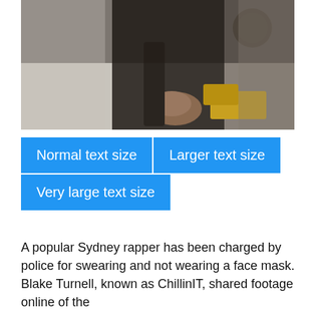[Figure (photo): A blurred/darkened photo showing a person lying on the ground with a police officer or person in uniform visible above them. The image appears to be a still from a video of an arrest.]
Normal text size   Larger text size   Very large text size
A popular Sydney rapper has been charged by police for swearing and not wearing a face mask.
Blake Turnell, known as ChillinIT, shared footage online of the arrest at a Hurstville shopping centre, which he said occurred when he and his mother were buying Christmas presents.
The video, filmed by his mother, shows police asking Mr